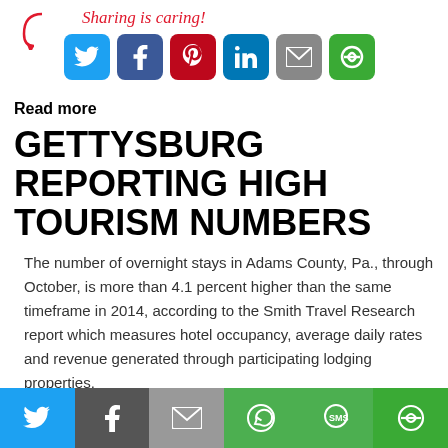[Figure (infographic): Sharing is caring! text with arrow and social media icon buttons: Twitter (blue), Facebook (dark blue), Pinterest (red), LinkedIn (blue), Email (gray), Share (green)]
Read more
GETTYSBURG REPORTING HIGH TOURISM NUMBERS
The number of overnight stays in Adams County, Pa., through October, is more than 4.1 percent higher than the same timeframe in 2014, according to the Smith Travel Research report which measures hotel occupancy, average daily rates and revenue generated through participating lodging properties.
Tags:
Pennsylvania
[Figure (infographic): Bottom share bar with Twitter, Facebook, Email, WhatsApp, SMS, and circular share buttons]